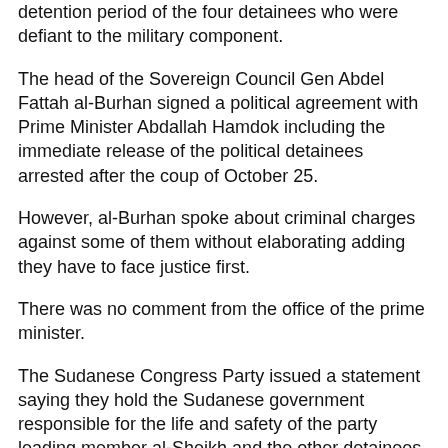detention period of the four detainees who were defiant to the military component.
The head of the Sovereign Council Gen Abdel Fattah al-Burhan signed a political agreement with Prime Minister Abdallah Hamdok including the immediate release of the political detainees arrested after the coup of October 25.
However, al-Burhan spoke about criminal charges against some of them without elaborating adding they have to face justice first.
There was no comment from the office of the prime minister.
The Sudanese Congress Party issued a statement saying they hold the Sudanese government responsible for the life and safety of the party leading member al-Sheikh and the other detainees.
A member of the Legal Committee of the Forces for Freedom and Change, Muez Hadrat, told Al-Jazeera TV on Sunday that the Sudanese army filed lawsuits against 25 leaders of the coalition immediately after their release from detention, including some ministers in the ousted government.